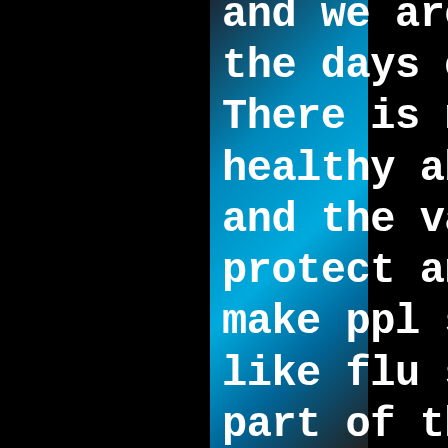and we are heading into the days of burkas. There is nothing healthy about a mask and the vax doesn't protect anyone, they make ppl sick, just like flu shots. It's part of the plan. Stop lying to yourselves and everyone else. No one is masking my daughter! Other than the fake news, which I hope your getting paid a